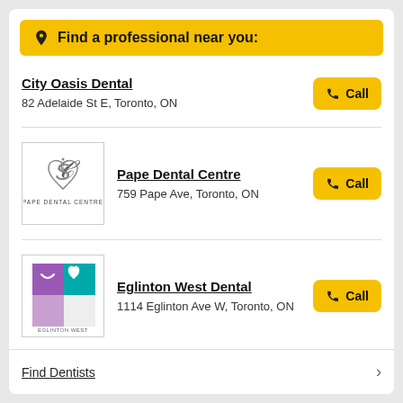Find a professional near you:
City Oasis Dental
82 Adelaide St E, Toronto, ON
Pape Dental Centre
759 Pape Ave, Toronto, ON
Eglinton West Dental
1114 Eglinton Ave W, Toronto, ON
Find Dentists